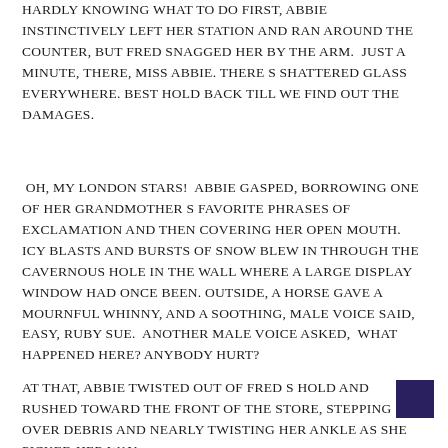Hardly knowing what to do first, Abbie instinctively left her station and ran around the counter, but Fred snagged her by the arm.  Just a minute, there, Miss Abbie. There s shattered glass everywhere. Best hold back till we find out the damages.
Oh, my London stars!  Abbie gasped, borrowing one of her grandmother s favorite phrases of exclamation and then covering her open mouth. Icy blasts and bursts of snow blew in through the cavernous hole in the wall where a large display window had once been. Outside, a horse gave a mournful whinny, and a soothing, male voice said,  Easy, Ruby Sue.  Another male voice asked,  What happened here? Anybody hurt?
At that, Abbie twisted out of Fred s hold and rushed toward the front of the store, stepping over debris and nearly twisting her ankle as she picked her way